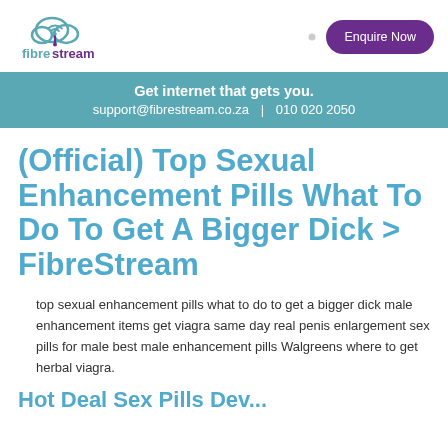[Figure (logo): FibreStream logo: cloud with WiFi signal icon in teal/purple, with text 'fibrestream' below in teal and purple]
Enquire Now
Get internet that gets you.
support@fibrestream.co.za | 010 020 2050
(Official) Top Sexual Enhancement Pills What To Do To Get A Bigger Dick > FibreStream
top sexual enhancement pills what to do to get a bigger dick male enhancement items get viagra same day real penis enlargement sex pills for male best male enhancement pills Walgreens where to get herbal viagra.
Hot Deal Sex Pills Dev...